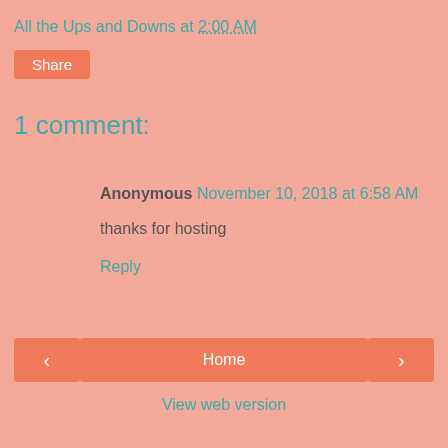All the Ups and Downs at 2:00 AM
Share
1 comment:
Anonymous November 10, 2018 at 6:58 AM
thanks for hosting
Reply
< Home > View web version